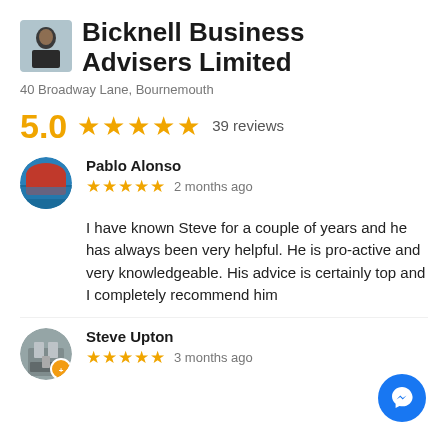Bicknell Business Advisers Limited
40 Broadway Lane, Bournemouth
5.0 ★★★★★ 39 reviews
Pablo Alonso
★★★★★ 2 months ago
I have known Steve for a couple of years and he has always been very helpful. He is pro-active and very knowledgeable. His advice is certainly top and I completely recommend him
Steve Upton
★★★★★ 3 months ago